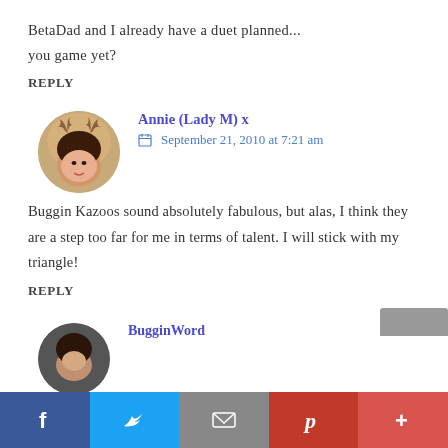BetaDad and I already have a duet planned... you game yet?
REPLY
[Figure (photo): Circular avatar of Annie (Lady M) showing a woman with dark hair in front of a deer/stag]
Annie (Lady M) x
September 21, 2010 at 7:21 am
Buggin Kazoos sound absolutely fabulous, but alas, I think they are a step too far for me in terms of talent. I will stick with my triangle!
REPLY
[Figure (photo): Partial circular avatar of BugginWord commenter, dark hair]
BugginWord